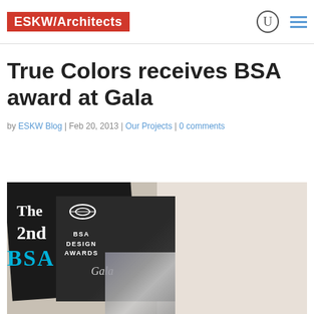ESKW/Architects
True Colors receives BSA award at Gala
by ESKW Blog | Feb 20, 2013 | Our Projects | 0 comments
[Figure (photo): Photo of BSA Design Awards Gala physical award cards/plaques on a light background. One dark card reads 'The 2nd BSA' in white and blue text, and another shows 'BSA Design Awards Gala' with a marble accent piece.]